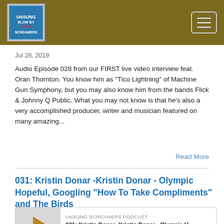Unsung Screamers Podcast - header navigation bar with logo and hamburger menu
Jul 28, 2019
Audio Episode 028 from our FIRST live video interview feat. Oran Thornton. You know him as "Tico Lightning" of Machine Gun Symphony, but you may also know him from the bands Flick & Johnny Q Public. What you may not know is that he's also a very accomplished producer, writer and musician featured on many amazing...
Read More
031: Kristin Donar -Kristin Donar - Olympic Hopeful, Googling "How To Take Compliments" and The Birds
[Figure (other): Podcast player widget showing play button, label 'UNSUNG SCREAMERS PODCAST', and episode title '031: Kristin Donar -Kristin Donar - Olympic H...']